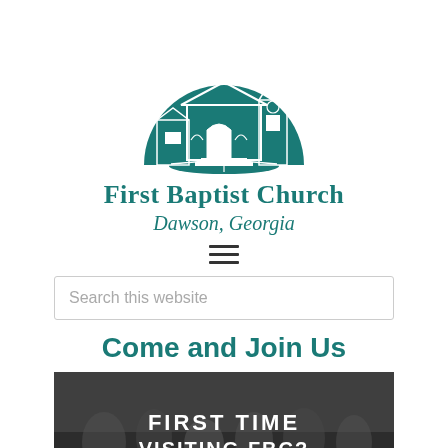[Figure (logo): First Baptist Church Dawson Georgia logo — teal illustration of a church building with steeple, arched entrance, and radiating sunburst above, set against a semicircular backdrop, with an open book at the base]
First Baptist Church
Dawson, Georgia
[Figure (other): Hamburger/menu icon — three horizontal bars]
Search this website
Come and Join Us
[Figure (photo): Photograph of people in church pews, overlaid with bold white text reading FIRST TIME VISITING FBC?]